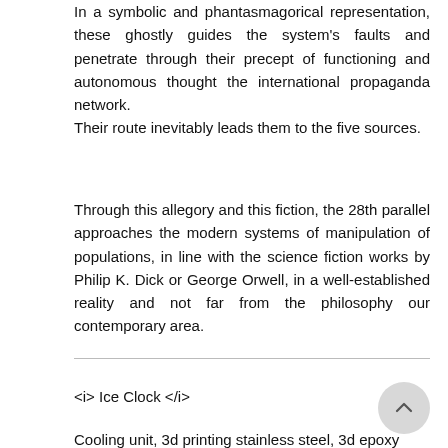In a symbolic and phantasmagorical representation, these ghostly guides the system's faults and penetrate through their precept of functioning and autonomous thought the international propaganda network. Their route inevitably leads them to the five sources.
Through this allegory and this fiction, the 28th parallel approaches the modern systems of manipulation of populations, in line with the science fiction works by Philip K. Dick or George Orwell, in a well-established reality and not far from the philosophy our contemporary area.
<i> Ice Clock </i>
Cooling unit, 3d printing stainless steel, 3d epoxy printing